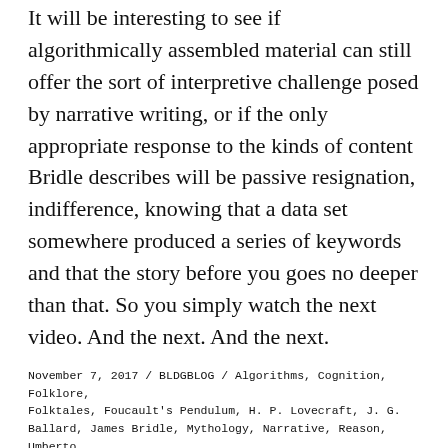It will be interesting to see if algorithmically assembled material can still offer the sort of interpretive challenge posed by narrative writing, or if the only appropriate response to the kinds of content Bridle describes will be passive resignation, indifference, knowing that a data set somewhere produced a series of keywords and that the story before you goes no deeper than that. So you simply watch the next video. And the next. And the next.
November 7, 2017 / BLDGBLOG / Algorithms, Cognition, Folklore, Folktales, Foucault's Pendulum, H. P. Lovecraft, J. G. Ballard, James Bridle, Mythology, Narrative, Reason, Umberto Eco, Writing, YouTube / 6 Comments
About
BLDGBLOG ("building blog") was launched in 2004 and is written by